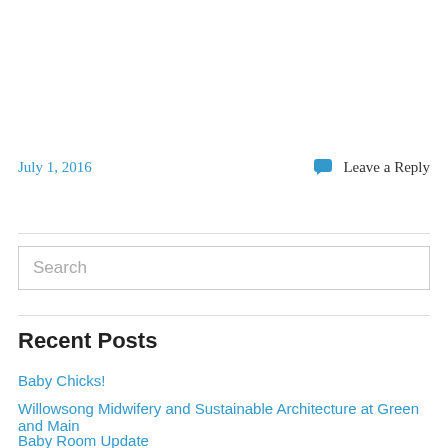July 1, 2016
Leave a Reply
Search
Recent Posts
Baby Chicks!
Willowsong Midwifery and Sustainable Architecture at Green and Main
Baby Room Update